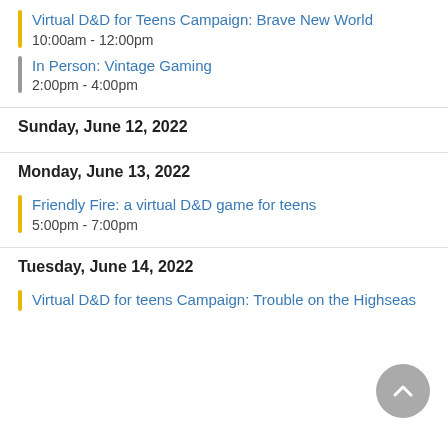Virtual D&D for Teens Campaign: Brave New World
10:00am - 12:00pm
In Person: Vintage Gaming
2:00pm - 4:00pm
Sunday, June 12, 2022
Monday, June 13, 2022
Friendly Fire: a virtual D&D game for teens
5:00pm - 7:00pm
Tuesday, June 14, 2022
Virtual D&D for teens Campaign: Trouble on the Highseas